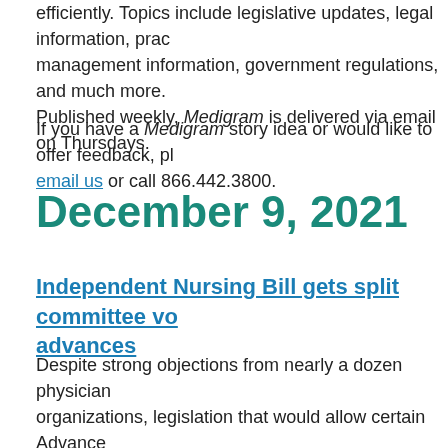efficiently. Topics include legislative updates, legal information, practice management information, government regulations, and much more. Published weekly, Medigram is delivered via email on Thursdays.
If you have a Medigram story idea or would like to offer feedback, please email us or call 866.442.3800.
December 9, 2021
Independent Nursing Bill gets split committee vote, advances
Despite strong objections from nearly a dozen physician organizations, legislation that would allow certain Advanced Practice Registered Nurses (APRN) to diagnose, treat and prescribe drugs to patients as independent providers advanced out of the Senate Committee on Health December